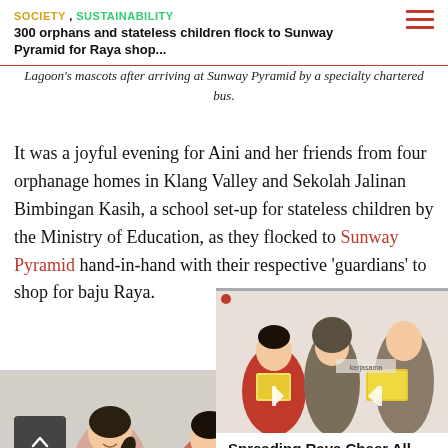SOCIETY , SUSTAINABILITY
300 orphans and stateless children flock to Sunway Pyramid for Raya shop...
Lagoon's mascots after arriving at Sunway Pyramid by a specialty chartered bus.
It was a joyful evening for Aini and her friends from four orphanage homes in Klang Valley and Sekolah Jalinan Bimbingan Kasih, a school set-up for stateless children by the Ministry of Education, as they flocked to Sunway Pyramid hand-in-hand with their respective 'guardians' to shop for baju Raya.
[Figure (photo): Children in a shop, girl with ponytail smiling]
[Figure (photo): People presenting a framed artwork at an event with kerjasama branding]
Spreading Raya Cheer All Around